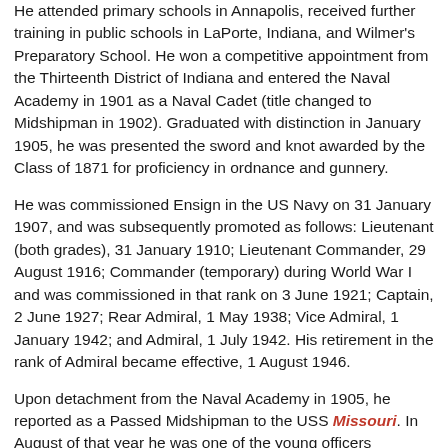He attended primary schools in Annapolis, received further training in public schools in LaPorte, Indiana, and Wilmer's Preparatory School. He won a competitive appointment from the Thirteenth District of Indiana and entered the Naval Academy in 1901 as a Naval Cadet (title changed to Midshipman in 1902). Graduated with distinction in January 1905, he was presented the sword and knot awarded by the Class of 1871 for proficiency in ordnance and gunnery.
He was commissioned Ensign in the US Navy on 31 January 1907, and was subsequently promoted as follows: Lieutenant (both grades), 31 January 1910; Lieutenant Commander, 29 August 1916; Commander (temporary) during World War I and was commissioned in that rank on 3 June 1921; Captain, 2 June 1927; Rear Admiral, 1 May 1938; Vice Admiral, 1 January 1942; and Admiral, 1 July 1942. His retirement in the rank of Admiral became effective, 1 August 1946.
Upon detachment from the Naval Academy in 1905, he reported as a Passed Midshipman to the USS Missouri. In August of that year he was one of the young officers assigned special temporary duty to attend the Russian-Japanese Peace Conference, held at the Navy Yard, Portsmouth, New Hampshire. When detached from the Missouri in May 1906, he was assigned briefly to the USS Marietta, and later the USS Hancock, then